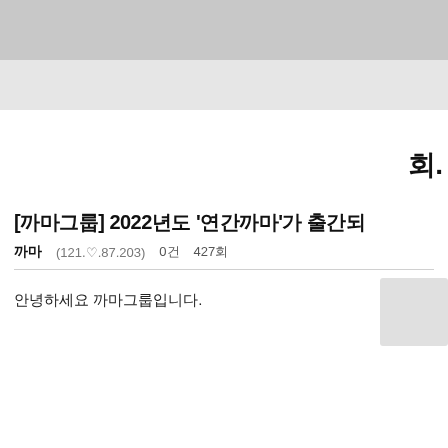회
[까마그룹] 2022년도 '연간까마'가 출간되
까마 (121.♡.87.203)   0건   427회
안녕하세요 까마그룹입니다.